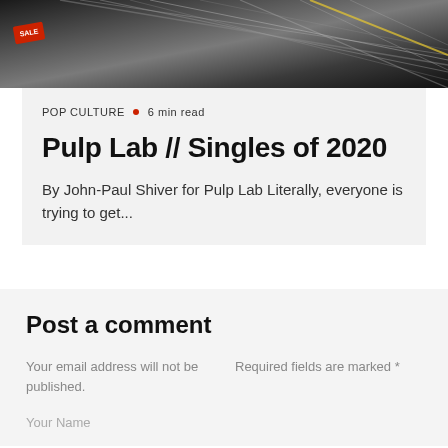[Figure (photo): Blurred photo of vinyl records in a crate with a red SALE tag visible on the left]
POP CULTURE • 6 min read
Pulp Lab // Singles of 2020
By John-Paul Shiver for Pulp Lab Literally, everyone is trying to get...
Post a comment
Your email address will not be published.
Required fields are marked *
Your Name